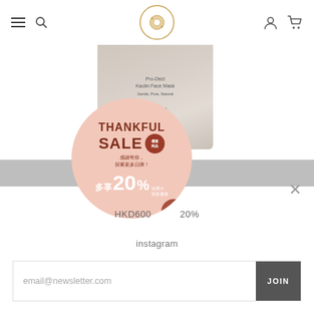Navigation header with hamburger menu, search icon, logo, user icon, cart icon
[Figure (photo): Product jar (Pro-Dect Kaolin Face Mask) partially visible, overlaid with a circular pink promotional badge reading THANKFUL SALE 20% with Chinese text, and a gray banner strip across the middle]
HKD600   20%
instagram
email@newsletter.com   JOIN